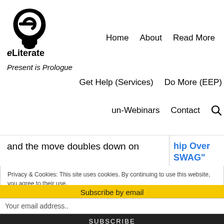[Figure (logo): eLiterate logo: stylized head silhouette with letter e, black and white]
eLiterate
Home   About   Read More
Present is Prologue
Get Help (Services)   Do More (EEP)
un-Webinars   Contact
and the move doubles down on
hip Over SWAG"
Privacy & Cookies: This site uses cookies. By continuing to use this website, you agree to their use. To find out more, including how to control cookies, see here: Cookie Policy
Subscribe by email
Your email address..
SUBSCRIBE